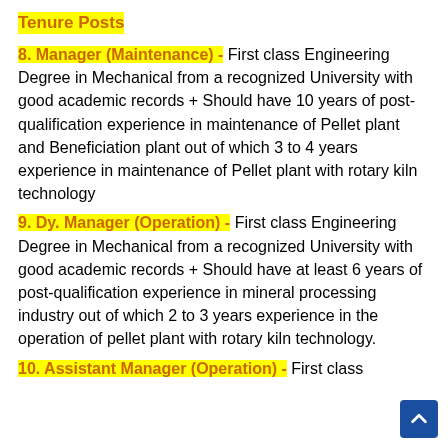Tenure Posts
8. Manager (Maintenance) - First class Engineering Degree in Mechanical from a recognized University with good academic records + Should have 10 years of post-qualification experience in maintenance of Pellet plant and Beneficiation plant out of which 3 to 4 years experience in maintenance of Pellet plant with rotary kiln technology
9. Dy. Manager (Operation) - First class Engineering Degree in Mechanical from a recognized University with good academic records + Should have at least 6 years of post-qualification experience in mineral processing industry out of which 2 to 3 years experience in the operation of pellet plant with rotary kiln technology.
10. Assistant Manager (Operation) - First class